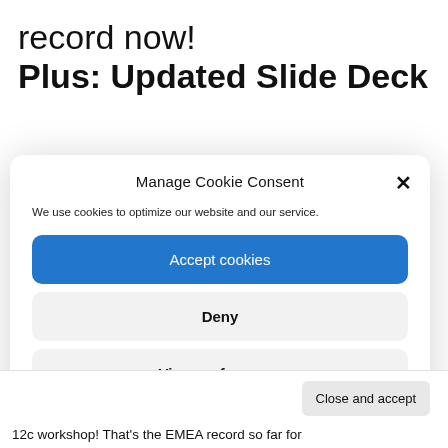record now! Plus: Updated Slide Deck
Manage Cookie Consent
We use cookies to optimize our website and our service.
Accept cookies
Deny
View preferences
Cookie Policy   Privacy Statement   About
Close and accept
12c workshop! That's the EMEA record so far for